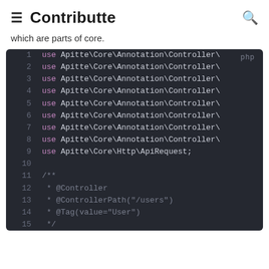≡ Contributte 🔍
which are parts of core.
[Figure (screenshot): PHP code block showing use statements for Apitte\Core\Annotation\Controller\ (lines 1-8), use Apitte\Core\Http\ApiRequest; (line 9), blank line 10, then a docblock starting with /** on line 11, * @Controller on line 12, * @ControllerPath("/users") on line 13, * @Tag(value="User") on line 14, * */ on line 15]